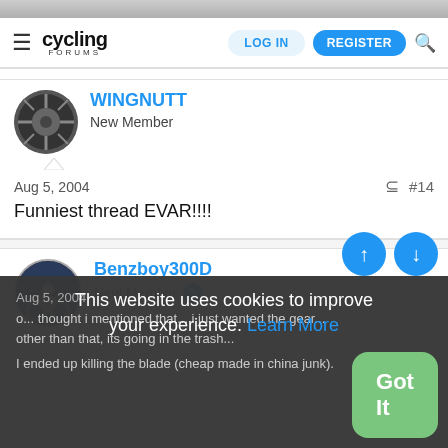Cycling Forums — LOG IN | REGISTER
WINGNUTT
New Member
Aug 5, 2004  #14
Funniest thread EVAR!!!!
Benzboy300D
New Member
Aug 5, 2004  #15
o... thought i mentioned that... i just wanted the gear... other than that, its going in the trash...
i ended up killing the blade (cheap made in china junk).
This website uses cookies to improve your experience. Learn More  Got It